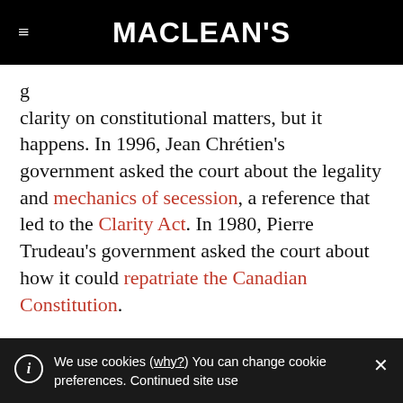MACLEAN'S
clarity on constitutional matters, but it happens. In 1996, Jean Chrétien's government asked the court about the legality and mechanics of secession, a reference that led to the Clarity Act. In 1980, Pierre Trudeau's government asked the court about how it could repatriate the Canadian Constitution.
The current government asked the court for
We use cookies (why?) You can change cookie preferences. Continued site use